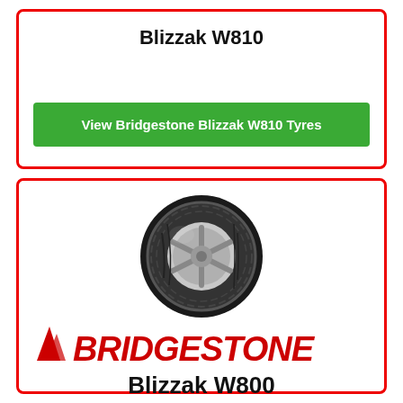Blizzak W810
View Bridgestone Blizzak W810 Tyres
[Figure (photo): Photo of a Bridgestone winter tyre (Blizzak) mounted on a silver alloy wheel, viewed at a slight angle showing the tread pattern.]
[Figure (logo): Bridgestone brand logo in red italic text with a stylized flag/bridge symbol preceding the text BRIDGESTONE.]
Blizzak W800